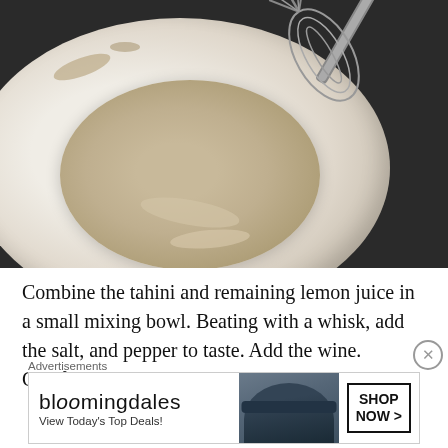[Figure (photo): Overhead close-up photo of a white ceramic mixing bowl containing a creamy tahini mixture being whisked, with a stainless steel whisk resting in the bowl. The background is dark/black.]
Combine the tahini and remaining lemon juice in a small mixing bowl. Beating with a whisk, add the salt, and pepper to taste. Add the wine. Carefully pour the
Advertisements
[Figure (other): Bloomingdale's advertisement banner: logo text 'bloomingdales', tagline 'View Today's Top Deals!', image of woman in wide-brim hat, 'SHOP NOW >' button.]